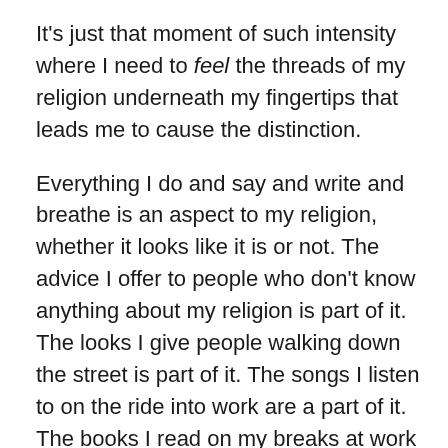It's just that moment of such intensity where I need to feel the threads of my religion underneath my fingertips that leads me to cause the distinction.
Everything I do and say and write and breathe is an aspect to my religion, whether it looks like it is or not. The advice I offer to people who don't know anything about my religion is part of it. The looks I give people walking down the street is part of it. The songs I listen to on the ride into work are a part of it. The books I read on my breaks at work or when I get home are a part of it. The way I sit in a chair is part of it. How I grip the steering wheel is part of it. The air that I breathe, the food that I eat, the clothes that I wear are all a part of it too. Everything I do is a part of it because my religion is as integral a piece of me as my hair color and my eye color; it's just, maybe, a bit more hidden